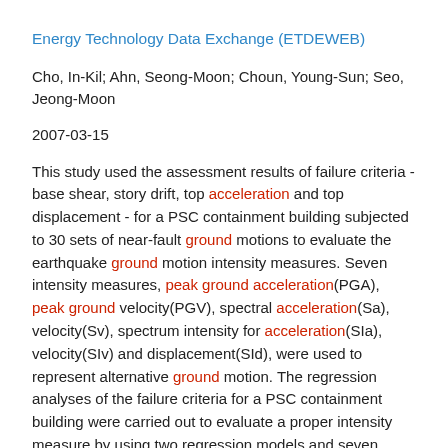Energy Technology Data Exchange (ETDEWEB)
Cho, In-Kil; Ahn, Seong-Moon; Choun, Young-Sun; Seo, Jeong-Moon
2007-03-15
This study used the assessment results of failure criteria - base shear, story drift, top acceleration and top displacement - for a PSC containment building subjected to 30 sets of near-fault ground motions to evaluate the earthquake ground motion intensity measures. Seven intensity measures, peak ground acceleration(PGA), peak ground velocity(PGV), spectral acceleration(Sa), velocity(Sv), spectrum intensity for acceleration(SIa), velocity(SIv) and displacement(SId), were used to represent alternative ground motion. The regression analyses of the failure criteria for a PSC containment building were carried out to evaluate a proper intensity measure by using two regression models and seven ground motion parameters. The regression analysis results demonstrate the correlation coefficients of the failure criteria in terms of the candidate IM. From the results, spectral acceleration(Sa) is estimated as the best parameter for a evaluation of the